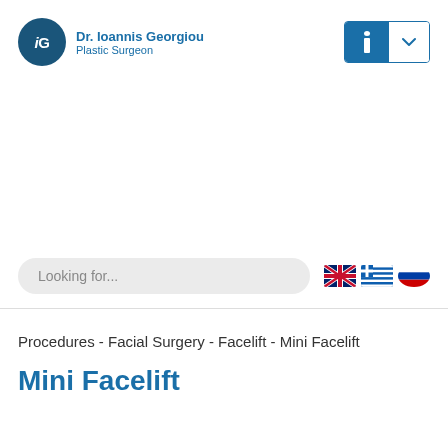Dr. Ioannis Georgiou Plastic Surgeon
Looking for...
Procedures - Facial Surgery - Facelift - Mini Facelift
Mini Facelift